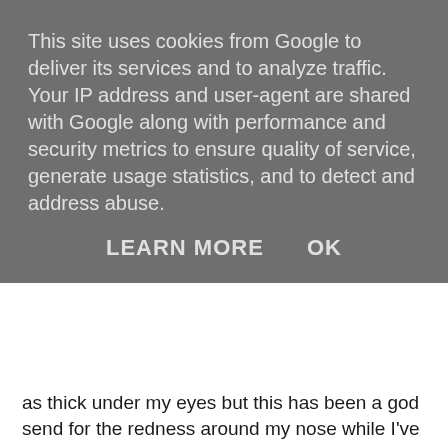This site uses cookies from Google to deliver its services and to analyze traffic. Your IP address and user-agent are shared with Google along with performance and security metrics to ensure quality of service, generate usage statistics, and to detect and address abuse.
LEARN MORE   OK
as thick under my eyes but this has been a god send for the redness around my nose while I've had a stinking cold, also the handy mirror in the top is really usefull and makes it perfect to keep in your bag for touch ups.
Both blushers are nicely pigmented, soft and easy to apply and come with a mirror in the lid too. You are my sunshine is a lovely peachy pink shade with gold shimmer running through, this reminds me a lot of my Nars Orgasm blush (I've just compared side by side and they are incredibly similar) if anything it's a little more golden and much more pigmented - though my nars is well used and has become a bit hard and shiny on the top now so that might be why.
My girl is a really nice soft pink blush its pretty much the